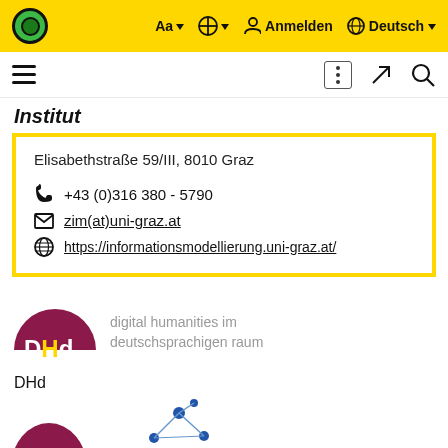Aa | contrast | Anmelden | Deutsch
Institut
Elisabethstraße 59/III, 8010 Graz
+43 (0)316 380 - 5790
zim(at)uni-graz.at
https://informationsmodellierung.uni-graz.at/
[Figure (logo): DHd - digital humanities im deutschsprachigen raum logo with dark red semicircle and DHd text]
digital humanities im deutschsprachigen raum
DHd
[Figure (logo): Partial logos visible at bottom of page]